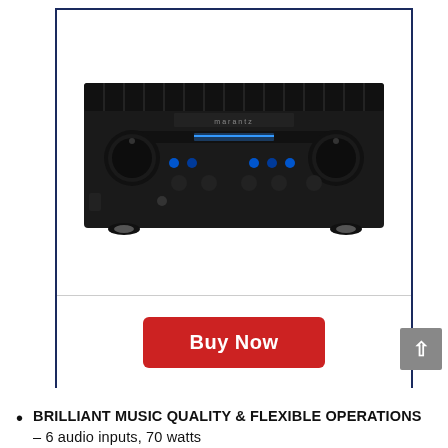[Figure (photo): Marantz stereo integrated amplifier, black finish, front panel view showing large volume knob on left, selector knob on right, blue display, and various controls]
Buy Now
BRILLIANT MUSIC QUALITY & FLEXIBLE OPERATIONS – 6 audio inputs, 70 watts